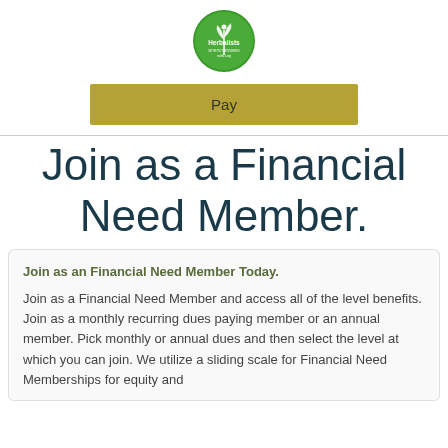[Figure (logo): Herbalists Without Borders circular green logo with plant imagery and website ewh01.org]
Pay
Join as a Financial Need Member.
Join as an Financial Need Member Today.
Join as a Financial Need Member and access all of the level benefits. Join as a monthly recurring dues paying member or an annual member. Pick monthly or annual dues and then select the level at which you can join. We utilize a sliding scale for Financial Need Memberships for equity and